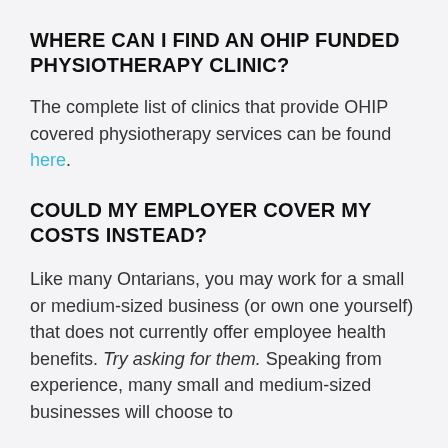WHERE CAN I FIND AN OHIP FUNDED PHYSIOTHERAPY CLINIC?
The complete list of clinics that provide OHIP covered physiotherapy services can be found here.
COULD MY EMPLOYER COVER MY COSTS INSTEAD?
Like many Ontarians, you may work for a small or medium-sized business (or own one yourself) that does not currently offer employee health benefits. Try asking for them. Speaking from experience, many small and medium-sized businesses will choose to